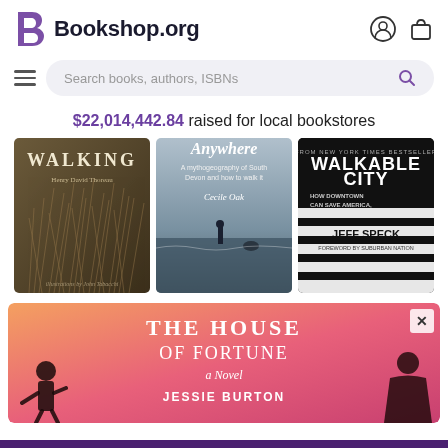[Figure (screenshot): Bookshop.org website header with logo (stylized B and 'Bookshop.org' text), user account icon, and shopping bag icon]
[Figure (screenshot): Search bar row with hamburger menu icon on left, search input field reading 'Search books, authors, ISBNs', and magnifying glass icon on right]
$22,014,442.84 raised for local bookstores
[Figure (illustration): Three book covers displayed side by side: 'Walking' by Henry David Thoreau (sepia toned grass/reeds cover), 'Anywhere: A mythogeography of South Devon and how to walk it' by Cecile Oak (person standing on rocky shore), 'Walkable City: How Downtown Can Save America, One Step at a Time' by Jeff Speck (black and white striped crosswalk cover)]
[Figure (illustration): Advertisement banner for 'The House of Fortune: A Novel' by Jessie Burton, with coral/pink gradient background, silhouettes of two figures on sides, and white serif text. Includes an X close button in the upper right corner.]